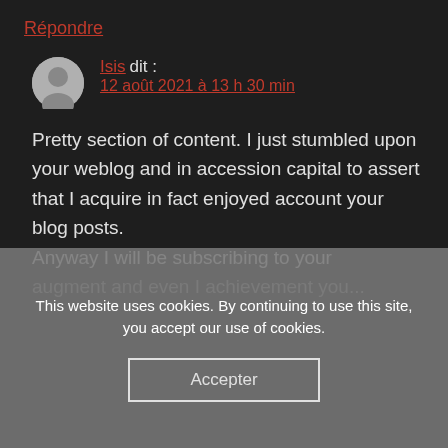Répondre
Isis dit :
12 août 2021 à 13 h 30 min
Pretty section of content. I just stumbled upon your weblog and in accession capital to assert that I acquire in fact enjoyed account your blog posts. Anyway I will be subscribing to your augment and even I achievement you...
This website uses cookies. By continuing to use this site, you accept our use of cookies.
Accepter